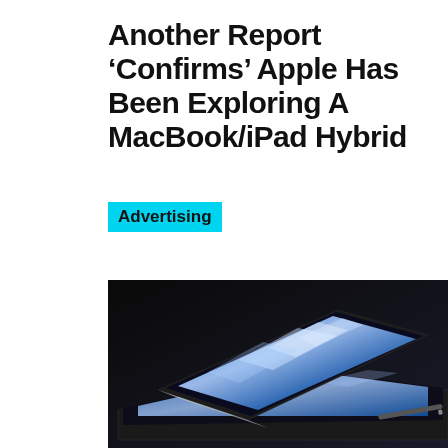Another Report 'Confirms' Apple Has Been Exploring A MacBook/iPad Hybrid
Advertising
[Figure (photo): A MacBook and iPad overlapping on a dark background, showing their blue-tinted screens with reflective wave patterns, representing the concept of a MacBook/iPad hybrid device.]